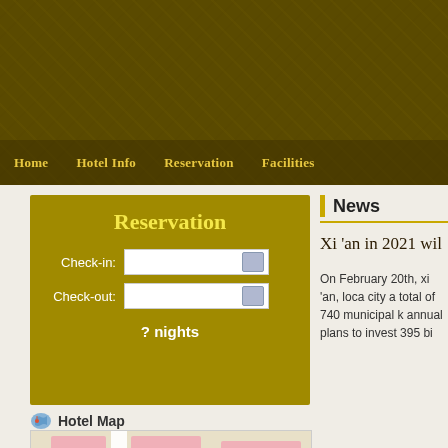Home   Hotel Info   Reservation   Facilities
Reservation
Check-in:
Check-out:
? nights
Hotel Map
[Figure (map): Street map showing hotel location with blue marker pin]
News
Xi 'an in 2021 wil
On February 20th, xi 'an, loca city a total of 740 municipal k annual plans to invest 395 bi